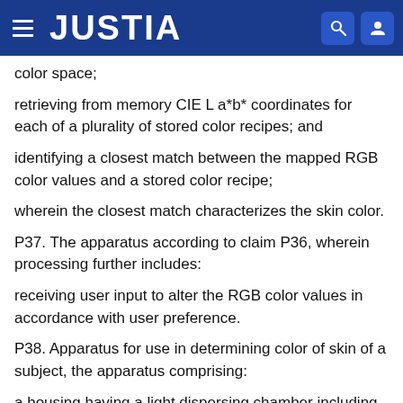JUSTIA
color space;
retrieving from memory CIE L a*b* coordinates for each of a plurality of stored color recipes; and
identifying a closest match between the mapped RGB color values and a stored color recipe;
wherein the closest match characterizes the skin color.
P37. The apparatus according to claim P36, wherein processing further includes:
receiving user input to alter the RGB color values in accordance with user preference.
P38. Apparatus for use in determining color of skin of a subject, the apparatus comprising:
a housing having a light dispersing chamber including